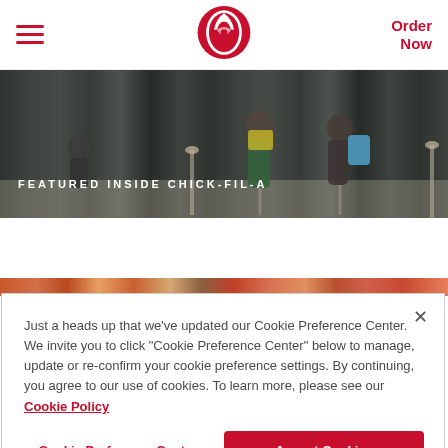Chick-fil-A website header with hamburger menu, logo, and Order Now link
[Figure (photo): Airport scene with travelers pulling luggage, overlaid with 'FEATURED INSIDE CHICK-FIL-A' text]
[Figure (photo): Food image strip showing colorful Chick-fil-A food items]
Just a heads up that we’ve updated our Cookie Preference Center. We invite you to click “Cookie Preference Center” below to manage, update or re-confirm your cookie preference settings. By continuing, you agree to our use of cookies. To learn more, please see our Cookie Policy
Cookie Preference Center
Accept Cookies